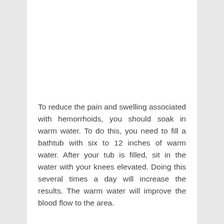To reduce the pain and swelling associated with hemorrhoids, you should soak in warm water. To do this, you need to fill a bathtub with six to 12 inches of warm water. After your tub is filled, sit in the water with your knees elevated. Doing this several times a day will increase the results. The warm water will improve the blood flow to the area.